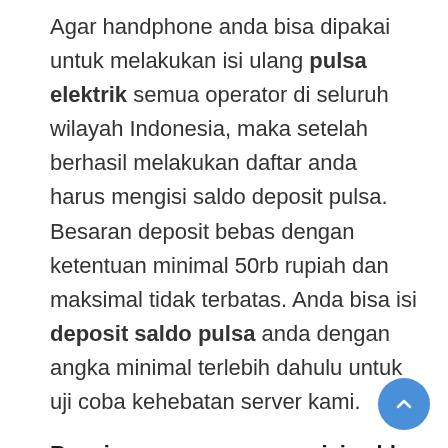Agar handphone anda bisa dipakai untuk melakukan isi ulang pulsa elektrik semua operator di seluruh wilayah Indonesia, maka setelah berhasil melakukan daftar anda harus mengisi saldo deposit pulsa. Besaran deposit bebas dengan ketentuan minimal 50rb rupiah dan maksimal tidak terbatas. Anda bisa isi deposit saldo pulsa anda dengan angka minimal terlebih dahulu untuk uji coba kehebatan server kami.
Bagaimana caranya mengisi saldo pulsa ?
Untuk lebih jelasnya tentang tata cara isi